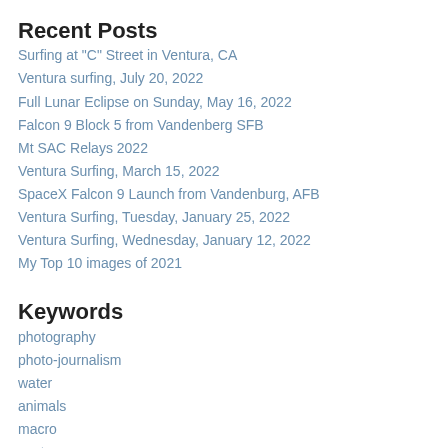Recent Posts
Surfing at "C" Street in Ventura, CA
Ventura surfing, July 20, 2022
Full Lunar Eclipse on Sunday, May 16, 2022
Falcon 9 Block 5 from Vandenberg SFB
Mt SAC Relays 2022
Ventura Surfing, March 15, 2022
SpaceX Falcon 9 Launch from Vandenburg, AFB
Ventura Surfing, Tuesday, January 25, 2022
Ventura Surfing, Wednesday, January 12, 2022
My Top 10 images of 2021
Keywords
photography
photo-journalism
water
animals
macro
ventura
surfing
emotion